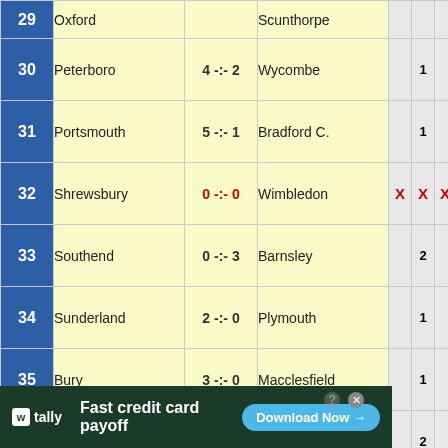| # | Home | Score | Away |  |  |  |
| --- | --- | --- | --- | --- | --- | --- |
| 29 | Oxford |  | Scunthorpe |  |  |  |
| 30 | Peterboro | 4 -:- 2 | Wycombe |  | 1 |  |
| 31 | Portsmouth | 5 -:- 1 | Bradford C. |  | 1 |  |
| 32 | Shrewsbury | 0 -:- 0 | Wimbledon | X | X | X |
| 33 | Southend | 0 -:- 3 | Barnsley |  | 2 |  |
| 34 | Sunderland | 2 -:- 0 | Plymouth |  | 1 |  |
| 35 | Bury | 3 -:- 0 | Macclesfield |  | 1 |  |
| 36 | Crewe | 0 -:- 2 | Northampton |  | 2 |  |
| 37 |  |  |  |  | 2 |  |
[Figure (other): Tally advertisement banner: 'Fast credit card payoff' with Download Now button]